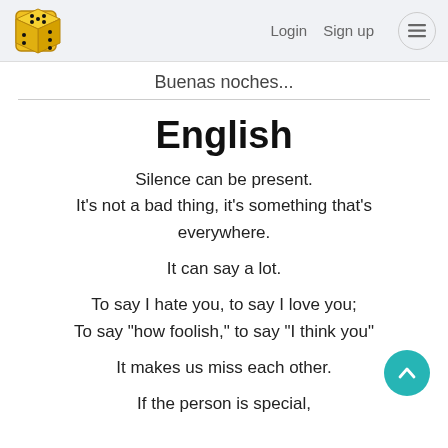Login  Sign up  ≡
Buenas noches...
English
Silence can be present.
It's not a bad thing, it's something that's everywhere.

It can say a lot.

To say I hate you, to say I love you;
To say "how foolish," to say "I think you"

It makes us miss each other.

If the person is special,